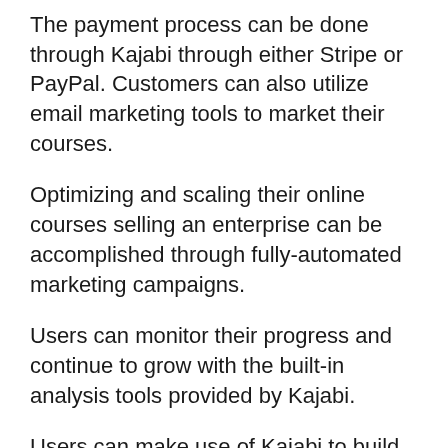The payment process can be done through Kajabi through either Stripe or PayPal. Customers can also utilize email marketing tools to market their courses.
Optimizing and scaling their online courses selling an enterprise can be accomplished through fully-automated marketing campaigns.
Users can monitor their progress and continue to grow with the built-in analysis tools provided by Kajabi.
Users can make use of Kajabi to build their own websites that contain all of their courses and other essential information. The website creation process can be made simpler by